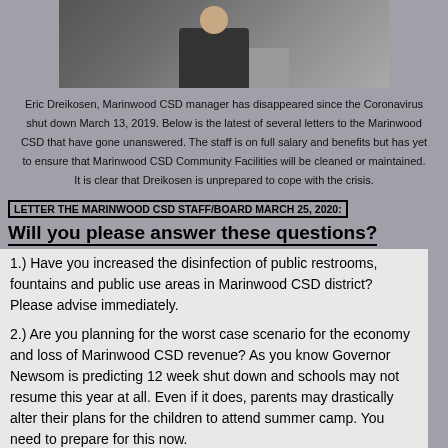[Figure (photo): Photo of Eric Dreikosen, Marinwood CSD manager, sitting at a table writing]
Eric Dreikosen, Marinwood CSD manager has disappeared since the Coronavirus shut down March 13, 2019. Below is the latest of several letters to the Marinwood CSD that have gone unanswered.  The staff is on full salary and benefits but has yet to ensure that Marinwood CSD Community Facilities will be cleaned or maintained.  It is clear that Dreikosen is unprepared to cope with the crisis.
LETTER THE MARINWOOD CSD STAFF/BOARD MARCH 25, 2020:
Will you please answer these questions?
1.) Have you increased the disinfection of public restrooms, fountains and public use areas in Marinwood CSD district?  Please advise immediately.
2.) Are you planning for the worst case scenario for the economy and loss of Marinwood CSD revenue?   As you know Governor Newsom is predicting 12 week shut down and schools may not resume this year at all. Even if it does, parents may drastically alter their plans for the children to attend summer camp.  You need to prepare for this now.